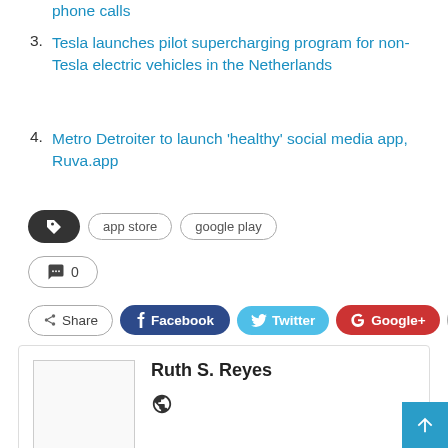phone calls
3. Tesla launches pilot supercharging program for non-Tesla electric vehicles in the Netherlands
4. Metro Detroiter to launch ‘healthy’ social media app, Ruva.app
[Figure (other): Tag icon button (dark oval), app store pill tag, google play pill tag]
[Figure (other): Comment bubble icon with count 0 in pill button]
[Figure (other): Share buttons row: Share, Facebook, Twitter, Google+, plus button]
[Figure (other): Author card with placeholder image box, author name Ruth S. Reyes and globe icon]
[Figure (other): Back to top blue square button with up arrow]